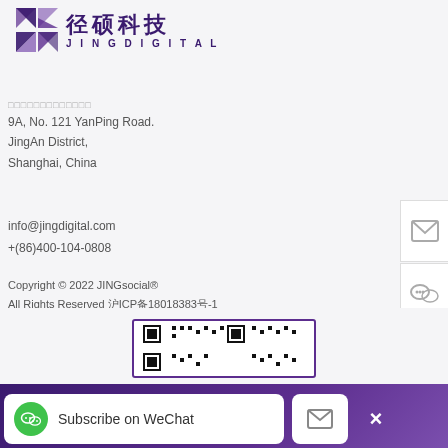[Figure (logo): JingDigital logo: purple geometric icon with Chinese characters 径硕科技 and JINGDIGITAL text]
9A, No. 121 YanPing Road.
JingAn District,
Shanghai, China
info@jingdigital.com
+(86)400-104-0808
Copyright © 2022 JINGsocial®
All Rights Reserved 沪ICP备18018383号-1
[Figure (other): QR code partially visible at bottom]
Subscribe on WeChat